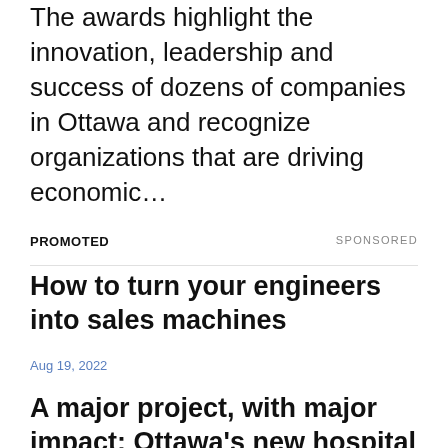The awards highlight the innovation, leadership and success of dozens of companies in Ottawa and recognize organizations that are driving economic…
PROMOTED
SPONSORED
How to turn your engineers into sales machines
Aug 19, 2022
A major project, with major impact: Ottawa's new hospital to pump